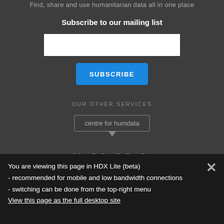Find, share and use humanitarian data all in one place
Subscribe to our mailing list
[Figure (other): White email input text field for mailing list subscription]
[Figure (other): Blue SUBSCRIBE button]
OUR OTHER SERVICES
[Figure (logo): centre for humdata logo in a speech bubble border box]
[Figure (logo): #HXL logo in large bold text]
You are viewing this page in HDX Lite (beta) - recommended for mobile and low bandwidth connections - switching can be done from the top-right menu
View this page as the full desktop site